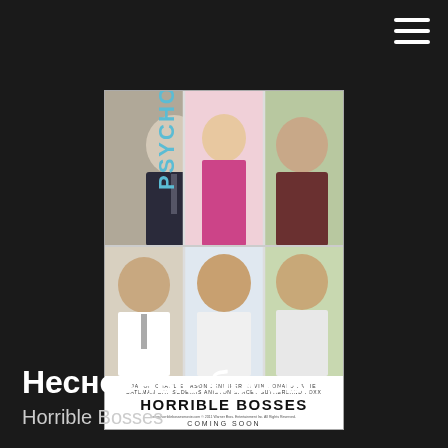[Figure (photo): Horrible Bosses movie poster showing three bosses (labeled PSYCHO, MANEATER, TOOL) in the top row and three employees in the bottom row, with the title HORRIBLE BOSSES and text COMING SOON]
Несносные боссы
Horrible Bosses